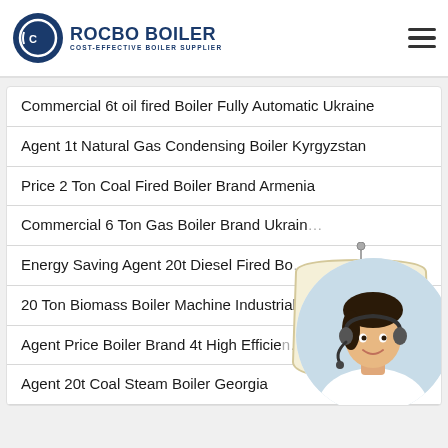ROCBO BOILER - COST-EFFECTIVE BOILER SUPPLIER
Commercial 6t oil fired Boiler Fully Automatic Ukraine
Agent 1t Natural Gas Condensing Boiler Kyrgyzstan
Price 2 Ton Coal Fired Boiler Brand Armenia
Commercial 6 Ton Gas Boiler Brand Ukraine
Energy Saving Agent 20t Diesel Fired Boiler
20 Ton Biomass Boiler Machine Industrial
Agent Price Boiler Brand 4t High Efficiency
Agent 20t Coal Steam Boiler Georgia
[Figure (other): 10% Discount hanging sign badge]
[Figure (photo): Customer service representative wearing headset, circular cropped photo]